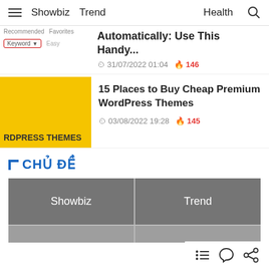Showbiz   Trend   Health
[Figure (screenshot): Partial article card with 'Automatically: Use This Handy...' title, date 31/07/2022 01:04, fire count 146, and a keyword search UI element]
Automatically: Use This Handy...
31/07/2022 01:04   146
[Figure (photo): Yellow thumbnail image with text 'RDPRESS THEMES' visible]
15 Places to Buy Cheap Premium WordPress Themes
03/08/2022 19:28   145
CHỦ ĐỀ
| Showbiz | Trend |
| --- | --- |
|  |  |